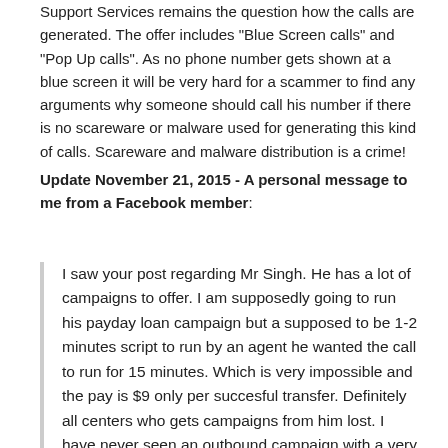Support Services remains the question how the calls are generated. The offer includes "Blue Screen calls" and "Pop Up calls". As no phone number gets shown at a blue screen it will be very hard for a scammer to find any arguments why someone should call his number if there is no scareware or malware used for generating this kind of calls. Scareware and malware distribution is a crime!
Update November 21, 2015 - A personal message to me from a Facebook member:
I saw your post regarding Mr Singh. He has a lot of campaigns to offer. I am supposedly going to run his payday loan campaign but a supposed to be 1-2 minutes script to run by an agent he wanted the call to run for 15 minutes. Which is very impossible and the pay is $9 only per succesful transfer. Definitely all centers who gets campaigns from him lost. I have never seen an outbound campaign with a very short script...